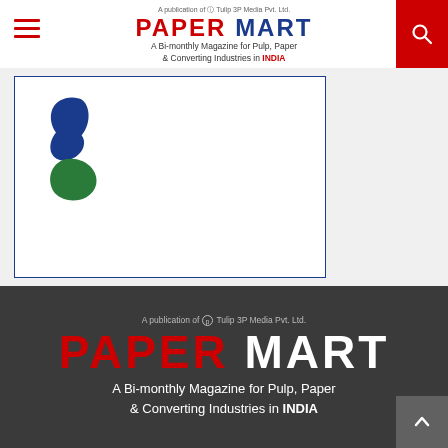Paper Mart - A Bi-monthly Magazine for Pulp, Paper & Converting Industries in INDIA
[Figure (logo): Company logo with blue and green stylized ribbon/wave shapes inside a bordered box]
[Figure (logo): Paper Mart footer logo - large red and white text with tagline on dark grey background. A publication of Tulip 3P Media Pvt. Ltd.]